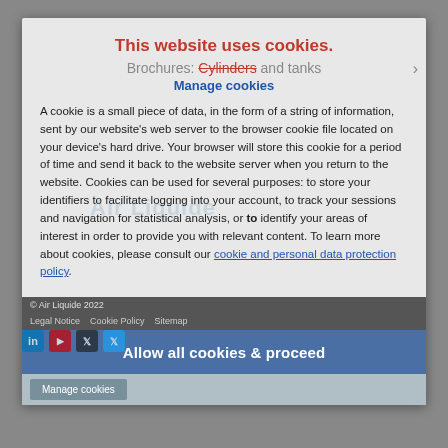This website uses cookies.
Brochures: Cylinders and tanks
Manage cookies
A cookie is a small piece of data, in the form of a string of information, sent by our website's web server to the browser cookie file located on your device's hard drive. Your browser will store this cookie for a period of time and send it back to the website server when you return to the website. Cookies can be used for several purposes: to store your identifiers to facilitate logging into your account, to track your sessions and navigation for statistical analysis, or to identify your areas of interest in order to provide you with relevant content. To learn more about cookies, please consult our cookie and personal data protection policy.
© Air Liquide 2022
Legal Notice   Cookie Policy   Sitemap
Allow all cookies & proceed
Manage cookies